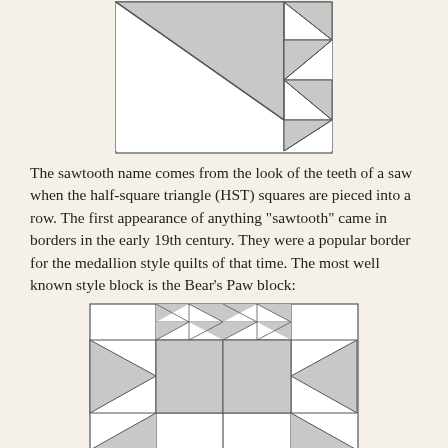[Figure (illustration): Partial quilt block diagram showing a large triangle and smaller half-square triangles in a rectangular frame, top portion of page]
The sawtooth name comes from the look of the teeth of a saw when the half-square triangle (HST) squares are pieced into a row. The first appearance of anything “sawtooth” came in borders in the early 19th century. They were a popular border for the medallion style quilts of that time. The most well known style block is the Bear’s Paw block:
[Figure (illustration): Bear's Paw quilt block pattern showing two paw block units with half-square triangles and squares arranged in a grid]